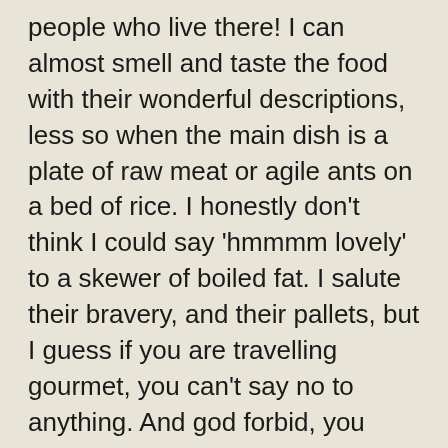people who live there!  I can almost smell and taste the food with their wonderful descriptions, less so when the main dish is a plate of raw meat or agile ants on a bed of rice.  I honestly don't think I could say 'hmmmm lovely' to a skewer of boiled fat.  I salute their bravery, and their pallets, but I guess if you are travelling gourmet, you can't say no to anything. And god forbid, you would tell a man standing in front of a furnace with a machete, that it could have done with a bit more salt.
My love of Russian drama, and the last